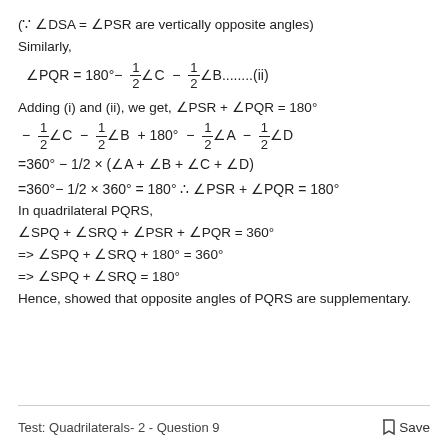(∵ ∠DSA = ∠PSR are vertically opposite angles)
Similarly,
Adding (i) and (ii), we get, ∠PSR + ∠PQR = 180°
In quadrilateral PQRS,
∠SPQ + ∠SRQ + ∠PSR + ∠PQR = 360°
=> ∠SPQ + ∠SRQ + 180° = 360°
=> ∠SPQ + ∠SRQ = 180°
Hence, showed that opposite angles of PQRS are supplementary.
Test: Quadrilaterals- 2 - Question 9    Save